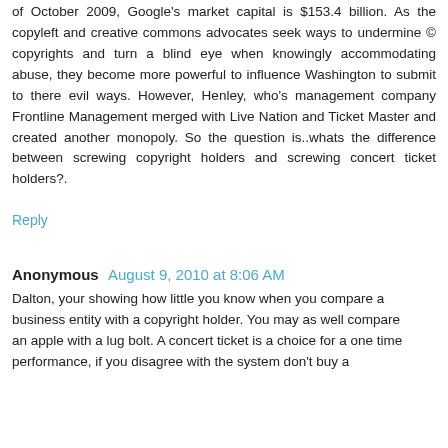of October 2009, Google's market capital is $153.4 billion. As the copyleft and creative commons advocates seek ways to undermine © copyrights and turn a blind eye when knowingly accommodating abuse, they become more powerful to influence Washington to submit to there evil ways. However, Henley, who's management company Frontline Management merged with Live Nation and Ticket Master and created another monopoly. So the question is..whats the difference between screwing copyright holders and screwing concert ticket holders?.
Reply
Anonymous August 9, 2010 at 8:06 AM
Dalton, your showing how little you know when you compare a business entity with a copyright holder. You may as well compare an apple with a lug bolt. A concert ticket is a choice for a one time performance, if you disagree with the system don't buy a